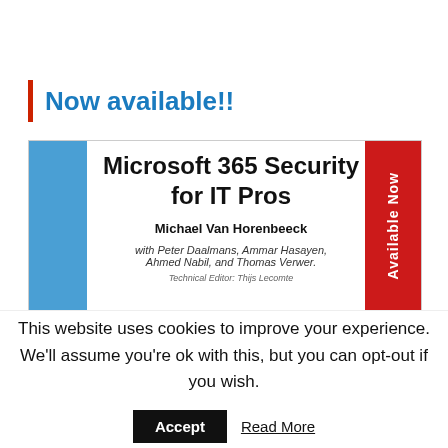Now available!!
[Figure (illustration): Book cover for 'Microsoft 365 Security for IT Pros' by Michael Van Horenbeeck, with co-authors Peter Daalmans, Ammar Hasayen, Ahmed Nabil, and Thomas Verwer. Features a blue vertical bar on the left and a red 'Available Now' badge on the right.]
This website uses cookies to improve your experience. We'll assume you're ok with this, but you can opt-out if you wish.
Accept
Read More